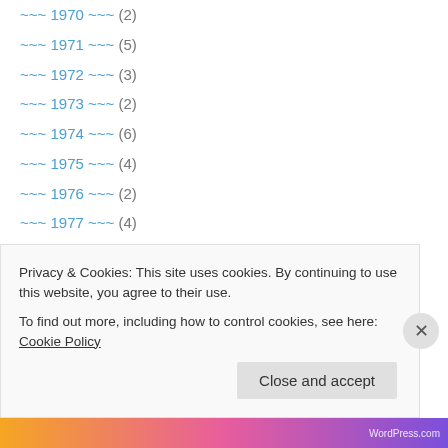~~~ 1970 ~~~ (2)
~~~ 1971 ~~~ (5)
~~~ 1972 ~~~ (3)
~~~ 1973 ~~~ (2)
~~~ 1974 ~~~ (6)
~~~ 1975 ~~~ (4)
~~~ 1976 ~~~ (2)
~~~ 1977 ~~~ (4)
~~~ 1978 ~~~ (2)
~~~ 1979 ~~~ (6)
~~~ 1980 ~~~ (6)
~~~ 1981 ~~~ (5)
~~~ 1982 ~~~ (6)
Privacy & Cookies: This site uses cookies. By continuing to use this website, you agree to their use. To find out more, including how to control cookies, see here: Cookie Policy
Close and accept